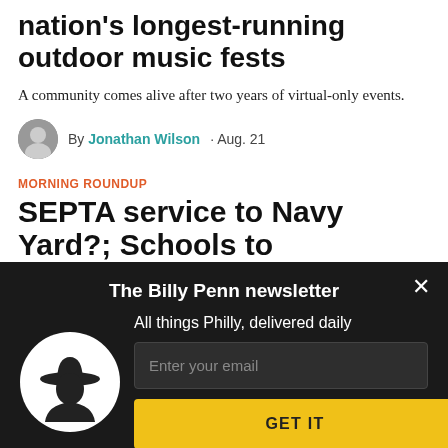nation's longest-running outdoor music fests
A community comes alive after two years of virtual-only events.
By Jonathan Wilson · Aug. 21
MORNING ROUNDUP
SEPTA service to Navy Yard?; Schools to
[Figure (infographic): The Billy Penn newsletter signup overlay on dark background. Shows Billy Penn cowboy silhouette logo, tagline 'All things Philly, delivered daily', email input field, and GET IT button.]